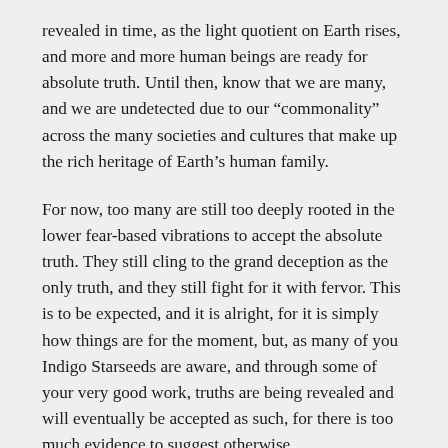revealed in time, as the light quotient on Earth rises, and more and more human beings are ready for absolute truth. Until then, know that we are many, and we are undetected due to our “commonality” across the many societies and cultures that make up the rich heritage of Earth’s human family.
For now, too many are still too deeply rooted in the lower fear-based vibrations to accept the absolute truth. They still cling to the grand deception as the only truth, and they still fight for it with fervor. This is to be expected, and it is alright, for it is simply how things are for the moment, but, as many of you Indigo Starseeds are aware, and through some of your very good work, truths are being revealed and will eventually be accepted as such, for there is too much evidence to suggest otherwise.
Of course, more of you are now needed to step into